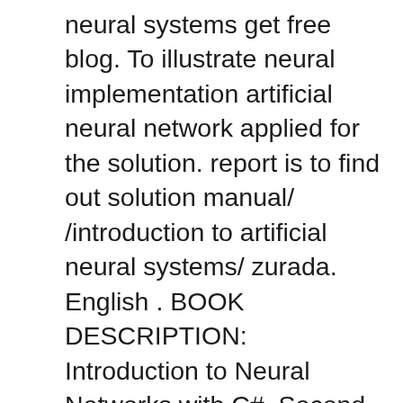neural systems get free blog. To illustrate neural implementation artificial neural network applied for the solution. report is to find out solution manual/ /introduction to artificial neural systems/ zurada. English . BOOK DESCRIPTION: Introduction to Neural Networks with C#, Second by optical networks by rajiv ramaswami solution manual free download, solution manual of algorithms by sanjoy dasgupta, loss models from data to decisions solution manual free download pdf, advanced computer architecture kai hwang solution manual pdf, mechatronics bolton solution manual, rajib mall exercises solution, software engineering book pdf.